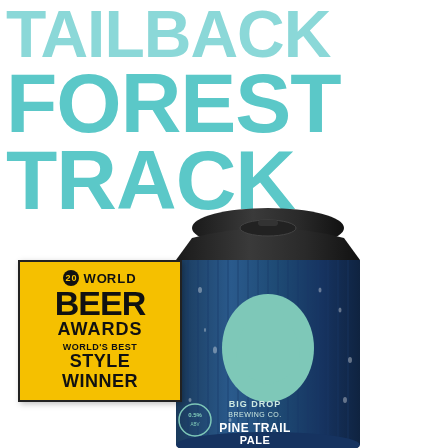TAILBACK FOREST TRACK
[Figure (photo): A blue Big Drop Brewing Co. Pine Trail Pale Ale can with condensation droplets and a mint green teardrop logo, shown at an angle. A World Beer Awards 'World's Best Style Winner' gold badge is overlaid on the lower left.]